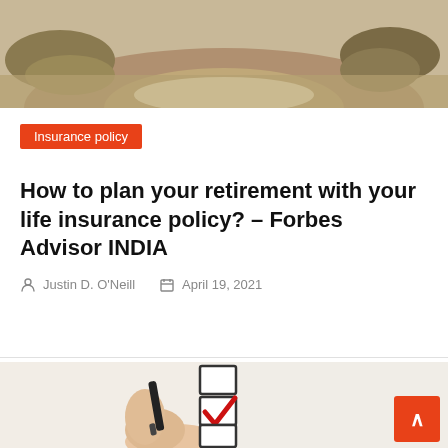[Figure (photo): Top portion of a dirt road / path landscape photo, showing sandy/earthy tones with vegetation]
Insurance policy
How to plan your retirement with your life insurance policy? – Forbes Advisor INDIA
Justin D. O'Neill   April 19, 2021
[Figure (photo): A hand holding a pen checking a checkbox on a list of three checkboxes, with a red checkmark on the middle box]